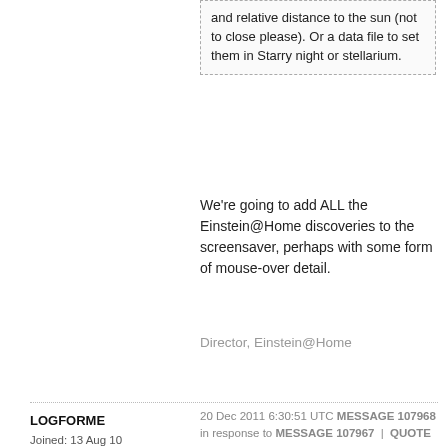and relative distance to the sun (not to close please). Or a data file to set them in Starry night or stellarium.
We're going to add ALL the Einstein@Home discoveries to the screensaver, perhaps with some form of mouse-over detail.
Director, Einstein@Home
LOGFORME
Joined: 13 Aug 10
Posts: 332
Credit: 1,714,373,961
RAC: 0
20 Dec 2011 6:30:51 UTC MESSAGE 107968 in response to MESSAGE 107967 | QUOTE
Quote:
We're going to add ALL the Einstein@Home discoveries to the screensaver, perhaps with some form of...